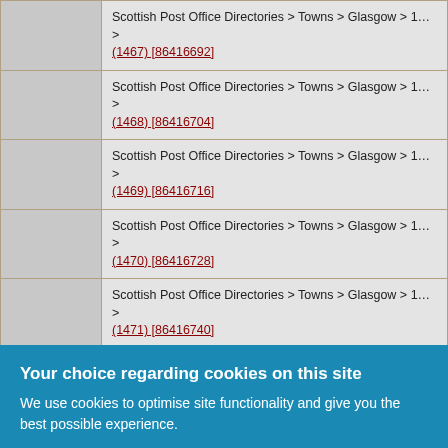|  | Directory Path |
| --- | --- |
|  | Scottish Post Office Directories > Towns > Glasgow > 1... > (1467) [86416692] |
|  | Scottish Post Office Directories > Towns > Glasgow > 1... > (1468) [86416704] |
|  | Scottish Post Office Directories > Towns > Glasgow > 1... > (1469) [86416716] |
|  | Scottish Post Office Directories > Towns > Glasgow > 1... > (1470) [86416728] |
|  | Scottish Post Office Directories > Towns > Glasgow > 1... > (1471) [86416740] |
Your choice regarding cookies on this site
We use cookies to optimise site functionality and give you the best possible experience.